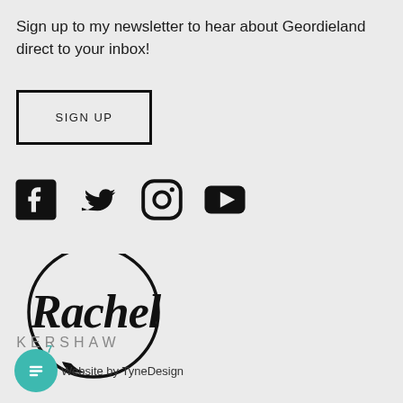Sign up to my newsletter to hear about Geordieland direct to your inbox!
[Figure (other): SIGN UP button with thick black border]
[Figure (other): Social media icons: Facebook, Twitter, Instagram, YouTube]
[Figure (logo): Rachel Kershaw logo in script font inside a speech bubble circle]
7
Website by TyneDesign
[Figure (other): Teal circular chat bubble icon with message lines]